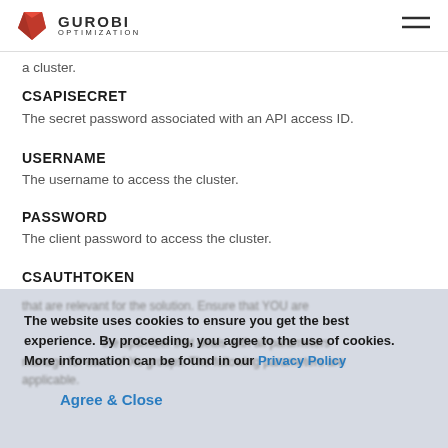Gurobi Optimization
a cluster.
CSAPISECRET
The secret password associated with an API access ID.
USERNAME
The username to access the cluster.
PASSWORD
The client password to access the cluster.
CSAUTHTOKEN
The website uses cookies to ensure you get the best experience. By proceeding, you agree to the use of cookies. More information can be found in our Privacy Policy
Agree & Close